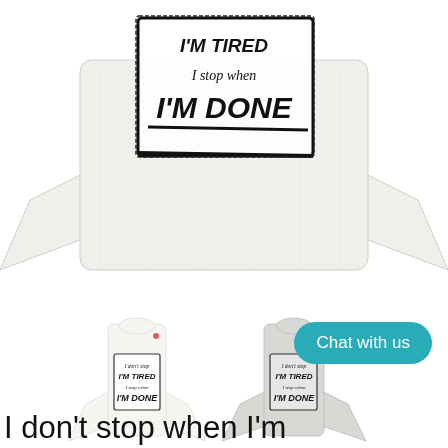[Figure (photo): Main product photo: a white long-sleeve T-shirt with a bold hand-drawn text graphic in a sketchy black box, partially visible text reading 'I stop when I'M DONE']
[Figure (photo): Two smaller product thumbnail images of the same long-sleeve T-shirt in white and light grey, both showing the graphic 'I don't stop / I'M TIRED / I stop when / I'M DONE']
Chat with us
I don't stop when I'm